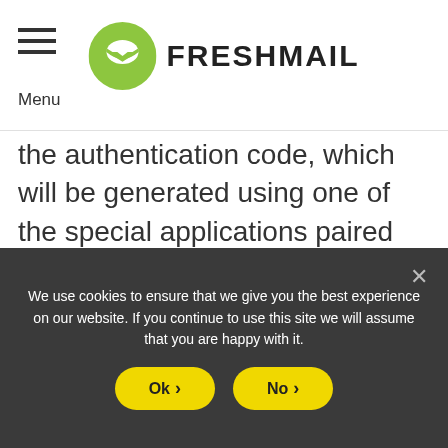Menu | FRESHMAIL
the authentication code, which will be generated using one of the special applications paired with your FreshMail account. This will give you the certainty that no one will access your account, even if your password is stolen.

Activating the two factor authentication in FreshMail is simple and quick – it just
We use cookies to ensure that we give you the best experience on our website. If you continue to use this site we will assume that you are happy with it.